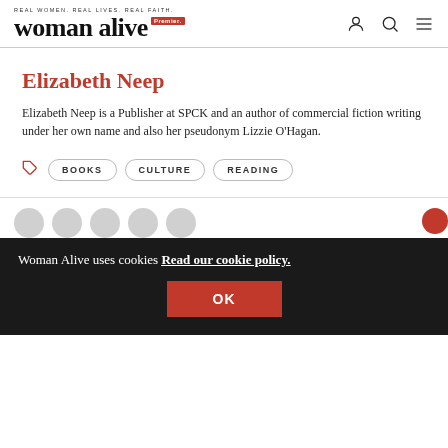REAL WOMEN. REAL LIVES. REAL FAITH. Premier. woman alive
Elizabeth Neep
Elizabeth Neep is a Publisher at SPCK and an author of commercial fiction writing under her own name and also her pseudonym Lizzie O'Hagan.
BOOKS   CULTURE   READING
Woman Alive uses cookies Read our cookie policy.
OK